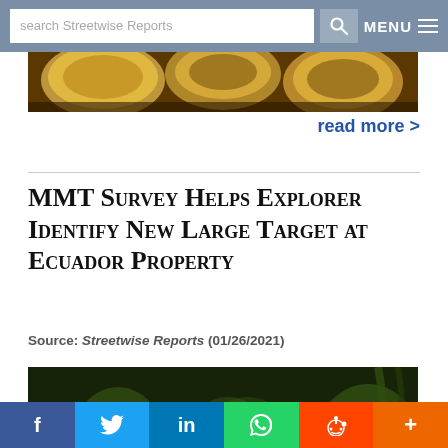search Streetwise Reports | MENU
[Figure (photo): Close-up photo of gold/copper coins]
read more >
MMT Survey Helps Explorer Identify New Large Target at Ecuador Property
Source: Streetwise Reports (01/26/2021)
[Figure (photo): Helicopter flying over dense jungle/forest in Ecuador]
f | Twitter bird | in | WhatsApp | Reddit alien | +